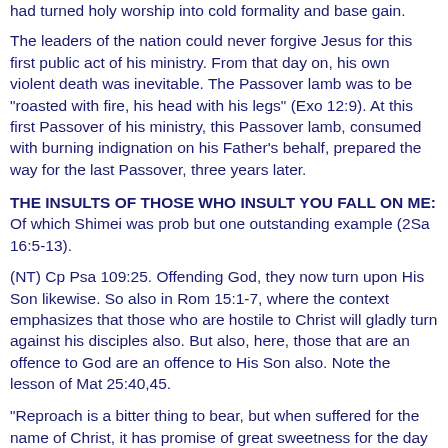had turned holy worship into cold formality and base gain.
The leaders of the nation could never forgive Jesus for this first public act of his ministry. From that day on, his own violent death was inevitable. The Passover lamb was to be "roasted with fire, his head with his legs" (Exo 12:9). At this first Passover of his ministry, this Passover lamb, consumed with burning indignation on his Father's behalf, prepared the way for the last Passover, three years later.
THE INSULTS OF THOSE WHO INSULT YOU FALL ON ME: Of which Shimei was prob but one outstanding example (2Sa 16:5-13).
(NT) Cp Psa 109:25. Offending God, they now turn upon His Son likewise. So also in Rom 15:1-7, where the context emphasizes that those who are hostile to Christ will gladly turn against his disciples also. But also, here, those that are an offence to God are an offence to His Son also. Note the lesson of Mat 25:40,45.
"Reproach is a bitter thing to bear, but when suffered for the name of Christ, it has promise of great sweetness for the day that is even now at the door" (RR). In the context of the psalm, behavior which was essentially a reproach against God, or an offence to Him, had the same effect on David and on Christ. As with v 4 (= Joh 15:25), what was valid for the Master is valid also for disciples -- certainly this attitude to fellow-disciples, even when the way of life they follow is not such as to command approval. This is the carryover of the context from Rom 14. This principle applies both ways: Those who took lightly their loyalty to God also took lightly their loyalty to His